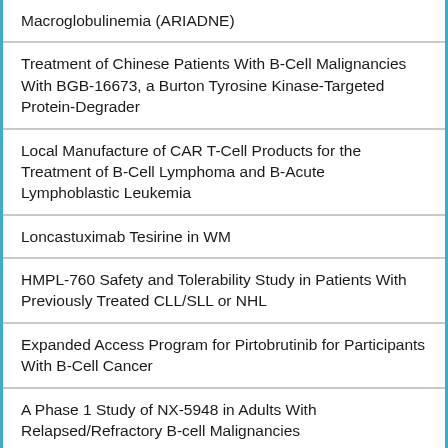Macroglobulinemia (ARIADNE)
Treatment of Chinese Patients With B-Cell Malignancies With BGB-16673, a Burton Tyrosine Kinase-Targeted Protein-Degrader
Local Manufacture of CAR T-Cell Products for the Treatment of B-Cell Lymphoma and B-Acute Lymphoblastic Leukemia
Loncastuximab Tesirine in WM
HMPL-760 Safety and Tolerability Study in Patients With Previously Treated CLL/SLL or NHL
Expanded Access Program for Pirtobrutinib for Participants With B-Cell Cancer
A Phase 1 Study of NX-5948 in Adults With Relapsed/Refractory B-cell Malignancies
Efficacy of Venetoclax in Combination With Rituximab in Waldenström's Macroglobulinemia